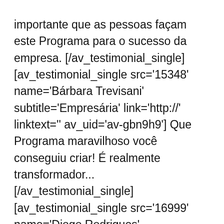importante que as pessoas façam este Programa para o sucesso da empresa. [/av_testimonial_single] [av_testimonial_single src='15348' name='Bárbara Trevisani' subtitle='Empresária' link='http://' linktext='' av_uid='av-gbn9h9'] Que Programa maravilhoso você conseguiu criar! É realmente transformador... [/av_testimonial_single] [av_testimonial_single src='16999' name='Diogo Rodrigues' subtitle='Diretor Fundador da YES Intercambios' link='https://youtu.be/_4xNoLj5w6E'